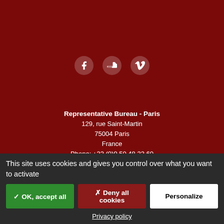[Figure (other): Social media icons: Facebook, SoundCloud, Vimeo — white circles on dark red background]
Representative Bureau - Paris
129, rue Saint-Martin
75004 Paris
France
Phone: +33 (0)9 50 48 33 60
Head Office - Lausanne
Place du Tunnel, 18
CH-1005 Lausanne
Switzerland
Residence - Rome
Colle Labirinto 24
This site uses cookies and gives you control over what you want to activate
✓ OK, accept all | ✗ Deny all cookies | Personalize
Privacy policy